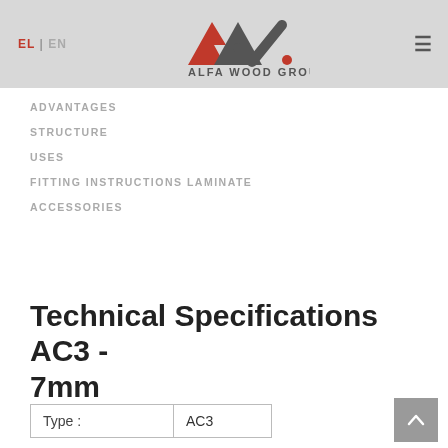EL | EN  [Alfa Wood Group Logo]  ☰
ADVANTAGES
STRUCTURE
USES
FITTING INSTRUCTIONS LAMINATE
ACCESSORIES
Technical Specifications AC3 - 7mm
| Type : | AC3 |
| --- | --- |